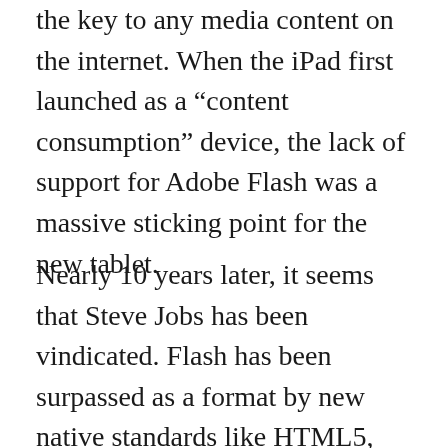the key to any media content on the internet. When the iPad first launched as a “content consumption” device, the lack of support for Adobe Flash was a massive sticking point for the new tablet.
Nearly 10 years later, it seems that Steve Jobs has been vindicated. Flash has been surpassed as a format by new native standards like HTML5, which are baked into nearly anything that can access the internet. HTML5 (and a plethora of